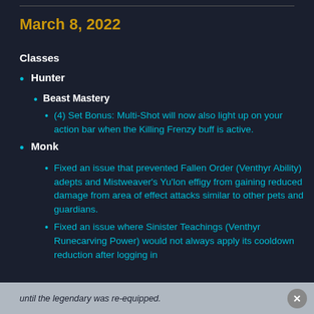March 8, 2022
Classes
Hunter
Beast Mastery
(4) Set Bonus: Multi-Shot will now also light up on your action bar when the Killing Frenzy buff is active.
Monk
Fixed an issue that prevented Fallen Order (Venthyr Ability) adepts and Mistweaver's Yu'lon effigy from gaining reduced damage from area of effect attacks similar to other pets and guardians.
Fixed an issue where Sinister Teachings (Venthyr Runecarving Power) would not always apply its cooldown reduction after logging in until the legendary was re-equipped.
Cyphers of the First Ones